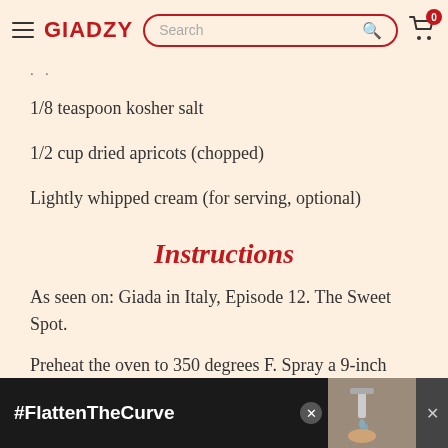GIADZY
1/8 teaspoon kosher salt
1/2 cup dried apricots (chopped)
Lightly whipped cream (for serving, optional)
Instructions
As seen on: Giada in Italy, Episode 12. The Sweet Spot.
Preheat the oven to 350 degrees F. Spray a 9-inch springform pan with nonstick cooking spray.
[Figure (screenshot): Advertisement banner with #FlattenTheCurve text and handwashing image]